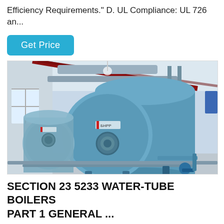Efficiency Requirements." D. UL Compliance: UL 726 an...
[Figure (other): Blue cylindrical water-tube boilers installed in an industrial facility, shot from a low angle. Multiple large horizontal boiler tanks with piping and support structures visible.]
SECTION 23 5233 WATER-TUBE BOILERS PART 1 GENERAL ...